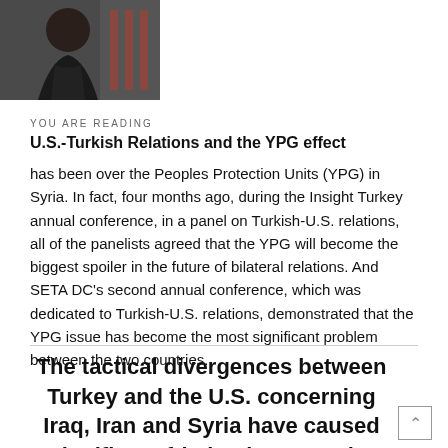[Figure (photo): A person in a suit looking downward, with an American flag in the background, small thumbnail photo]
YOU ARE READING
U.S.-Turkish Relations and the YPG effect
has been over the Peoples Protection Units (YPG) in Syria. In fact, four months ago, during the Insight Turkey annual conference, in a panel on Turkish-U.S. relations, all of the panelists agreed that the YPG will become the biggest spoiler in the future of bilateral relations. And SETA DC's second annual conference, which was dedicated to Turkish-U.S. relations, demonstrated that the YPG issue has become the most significant problem between the two countries.
The tactical divergences between Turkey and the U.S. concerning Iraq, Iran and Syria have caused significant friction between the two allies in the past decade.